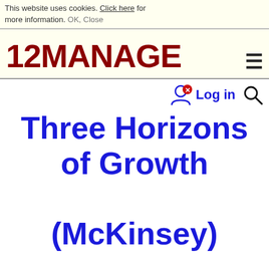This website uses cookies. Click here for more information. OK, Close
[Figure (logo): 12MANAGE logo in dark red bold text with hamburger menu icon on the right]
Three Horizons of Growth (McKinsey) Disruptive versus Incremental Innovation